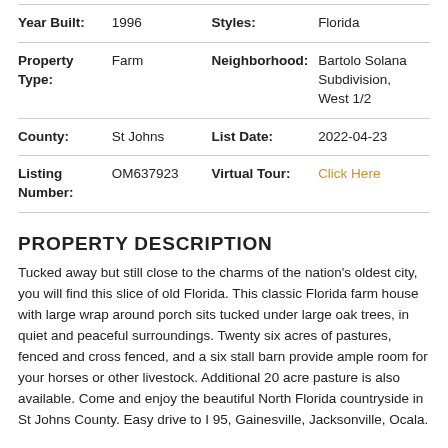| Field | Value | Field | Value |
| --- | --- | --- | --- |
| Year Built: | 1996 | Styles: | Florida |
| Property Type: | Farm | Neighborhood: | Bartolo Solana Subdivision, West 1/2 |
| County: | St Johns | List Date: | 2022-04-23 |
| Listing Number: | OM637923 | Virtual Tour: | Click Here |
PROPERTY DESCRIPTION
Tucked away but still close to the charms of the nation's oldest city, you will find this slice of old Florida. This classic Florida farm house with large wrap around porch sits tucked under large oak trees, in quiet and peaceful surroundings. Twenty six acres of pastures, fenced and cross fenced, and a six stall barn provide ample room for your horses or other livestock. Additional 20 acre pasture is also available. Come and enjoy the beautiful North Florida countryside in St Johns County. Easy drive to I 95, Gainesville, Jacksonville, Ocala.